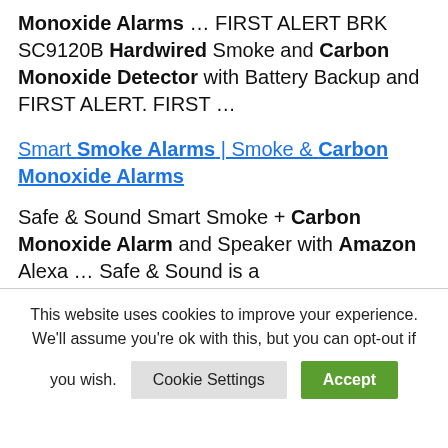Monoxide Alarms ... FIRST ALERT BRK SC9120B Hardwired Smoke and Carbon Monoxide Detector with Battery Backup and FIRST ALERT. FIRST ...
Smart Smoke Alarms | Smoke & Carbon Monoxide Alarms
Safe & Sound Smart Smoke + Carbon Monoxide Alarm and Speaker with Amazon Alexa ... Safe & Sound is a
This website uses cookies to improve your experience. We'll assume you're ok with this, but you can opt-out if you wish.